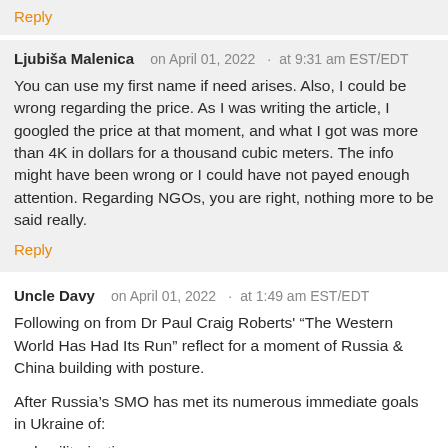Reply
Ljubiša Malenica   on April 01, 2022  ·  at 9:31 am EST/EDT
You can use my first name if need arises. Also, I could be wrong regarding the price. As I was writing the article, I googled the price at that moment, and what I got was more than 4K in dollars for a thousand cubic meters. The info might have been wrong or I could have not payed enough attention. Regarding NGOs, you are right, nothing more to be said really.
Reply
Uncle Davy   on April 01, 2022  ·  at 1:49 am EST/EDT
Following on from Dr Paul Craig Roberts' “The Western World Has Had Its Run” reflect for a moment of Russia & China building with posture.
After Russia’s SMO has met its numerous immediate goals in Ukraine of:
– demilitarisation
– denazification